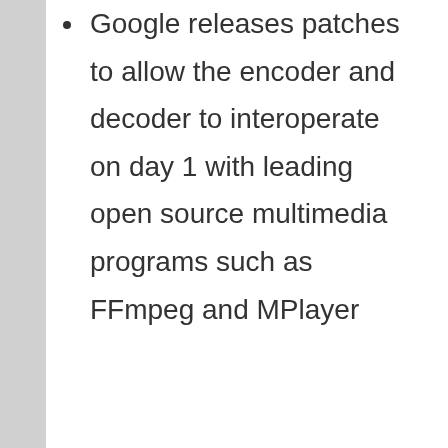Google releases patches to allow the encoder and decoder to interoperate on day 1 with leading open source multimedia programs such as FFmpeg and MPlayer